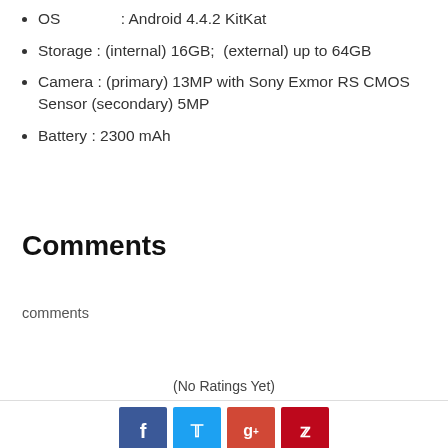OS : Android 4.4.2 KitKat
Storage : (internal) 16GB; (external) up to 64GB
Camera : (primary) 13MP with Sony Exmor RS CMOS Sensor (secondary) 5MP
Battery : 2300 mAh
Comments
comments
(No Ratings Yet)
[Figure (infographic): Social share buttons: Facebook (blue), Twitter (light blue), Google+ (red-orange), Pinterest (dark red)]